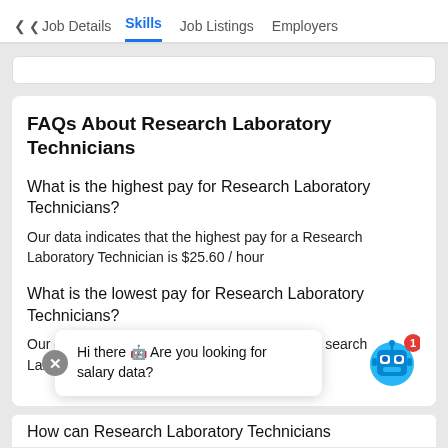Job Details  Skills  Job Listings  Employers
FAQs About Research Laboratory Technicians
What is the highest pay for Research Laboratory Technicians?
Our data indicates that the highest pay for a Research Laboratory Technician is $25.60 / hour
What is the lowest pay for Research Laboratory Technicians?
Our data d... search Laboratory T...
[Figure (screenshot): Chat popup: 'Hi there 🤖 Are you looking for salary data?' with close button and robot avatar]
How can Research Laboratory Technicians...